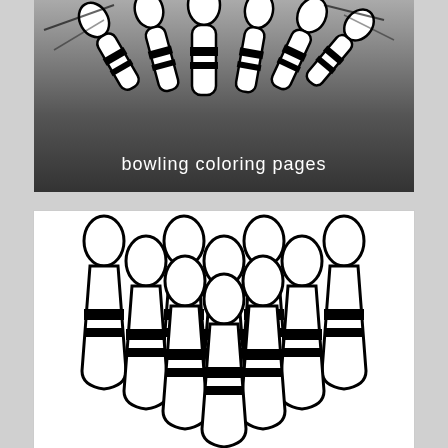[Figure (illustration): Bowling pins being hit by a bowling ball, shown from the side with a gradient dark background. Text 'bowling coloring pages' overlaid in white.]
[Figure (illustration): Ten bowling pins arranged in a triangle formation, drawn in black outline style on white background, coloring page style.]